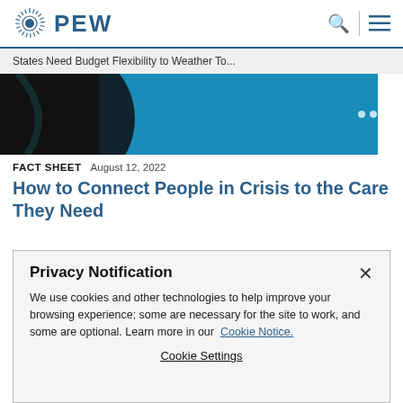PEW
States Need Budget Flexibility to Weather To...
[Figure (photo): Abstract banner image with black and teal/blue colors, teal curve on left side and blue textured background on right]
FACT SHEET   August 12, 2022
How to Connect People in Crisis to the Care They Need
Privacy Notification
We use cookies and other technologies to help improve your browsing experience; some are necessary for the site to work, and some are optional. Learn more in our Cookie Notice.
Cookie Settings